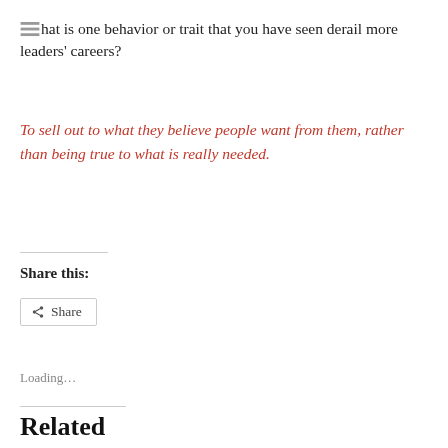What is one behavior or trait that you have seen derail more leaders' careers?
To sell out to what they believe people want from them, rather than being true to what is really needed.
Share this:
[Figure (other): Share button with share icon and text 'Share']
Loading...
Related